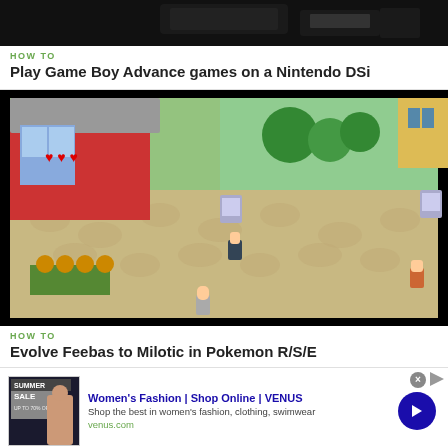[Figure (photo): Top portion of a Nintendo DSi device screenshot (partially cropped at top)]
HOW TO
Play Game Boy Advance games on a Nintendo DSi
[Figure (screenshot): Screenshot of a Pokemon Ruby/Sapphire/Emerald GBA game showing a town map with player character and NPCs]
HOW TO
Evolve Feebas to Milotic in Pokemon R/S/E
[Figure (other): Advertisement for Women's Fashion at VENUS - Shop Online. Shows a summer sale promo image with a woman. Text: Women's Fashion | Shop Online | VENUS, Shop the best in women's fashion, clothing, swimwear, venus.com]